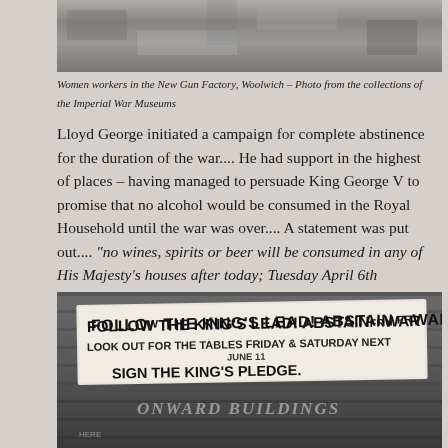[Figure (photo): Black and white photo of women workers in the New Gun Factory, Woolwich — partial view, top portion only]
Women workers in the New Gun Factory, Woolwich – Photo from the collections of the Imperial War Museums
Lloyd George initiated a campaign for complete abstinence for the duration of the war.... He had support in the highest of places – having managed to persuade King George V to promise that no alcohol would be consumed in the Royal Household until the war was over.... A statement was put out.... "no wines, spirits or beer will be consumed in any of His Majesty's houses after today; Tuesday April 6th 1915"....
[Figure (photo): Black and white photograph of a sign on a brick wall reading: FOLLOW THE KING'S LEAD! ABSTAIN FROM WAR / LOOK OUT FOR THE TABLES FRIDAY & SATURDAY NEXT JUNE 11 / SIGN THE KING'S PLEDGE. / ONWARD BUILDINGS visible below.]